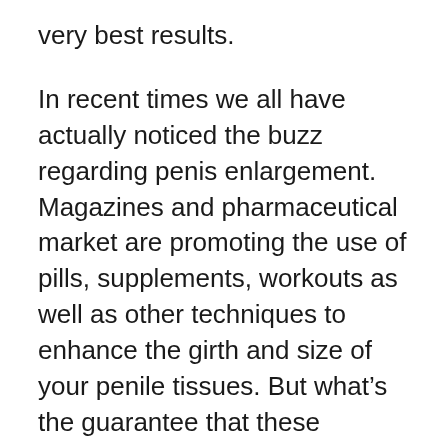very best results.
In recent times we all have actually noticed the buzz regarding penis enlargement. Magazines and pharmaceutical market are promoting the use of pills, supplements, workouts as well as other techniques to enhance the girth and size of your penile tissues. But what's the guarantee that these treatments function? Guys are anxious regarding their penis dimension. When the men believe that the dimension of their penis is abnormal, researches have actually shown that mainly the penises of the men hold the typical size and they must not be concerned about it. Researches claim that virtually 85% of girls enjoy larger penis over those who are tiny or of typical size. Larger